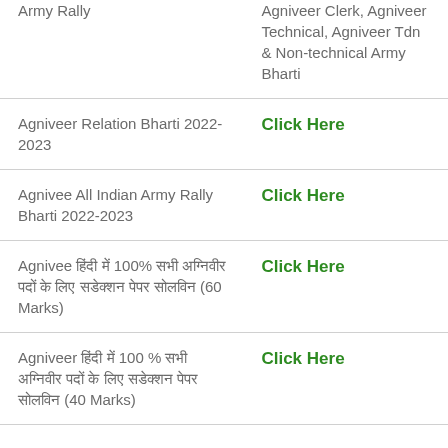|  |  |
| --- | --- |
| Army Rally | Agniveer Clerk, Agniveer Technical, Agniveer Tdn & Non-technical Army Bharti |
| Agniveer Relation Bharti 2022-2023 | Click Here |
| Agnivee All Indian Army Rally Bharti 2022-2023 | Click Here |
| Agnivee हिंदी में 100% सभी अग्निवीर पदों के लिए सडेक्शन पेपर सोलविन (60 Marks) | Click Here |
| Agniveer हिंदी में 100 % सभी अग्निवीर पदों के लिए सडेक्शन पेपर सोलविन (40 Marks) | Click Here |